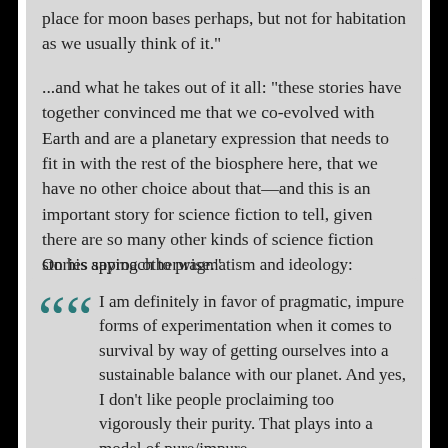place for moon bases perhaps, but not for habitation as we usually think of it."
...and what he takes out of it all: "these stories have together convinced me that we co-evolved with Earth and are a planetary expression that needs to fit in with the rest of the biosphere here, that we have no other choice about that—and this is an important story for science fiction to tell, given there are so many other kinds of science fiction stories saying otherwise."
On his approach to pragmatism and ideology:
I am definitely in favor of pragmatic, impure forms of experimentation when it comes to survival by way of getting ourselves into a sustainable balance with our planet. And yes, I don't like people proclaiming too vigorously their purity. That plays into a model of pure/impure